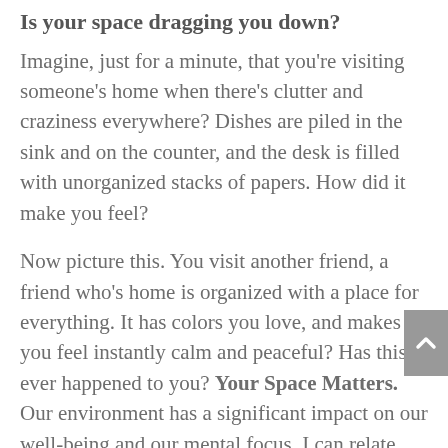Is your space dragging you down?
Imagine, just for a minute, that you're visiting someone's home when there's clutter and craziness everywhere? Dishes are piled in the sink and on the counter, and the desk is filled with unorganized stacks of papers.  How did it make you feel?
Now picture this.  You visit another friend, a friend who's home is organized with a place for everything.  It has colors you love, and makes you feel instantly calm and peaceful?  Has this ever happened to you?  Your Space Matters.  Our environment has a significant impact on our well-being and our mental focus.  I can relate because I've been there too many times!  As we go about our day, following our crazy…